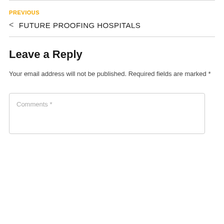PREVIOUS
< FUTURE PROOFING HOSPITALS
Leave a Reply
Your email address will not be published. Required fields are marked *
Comments *